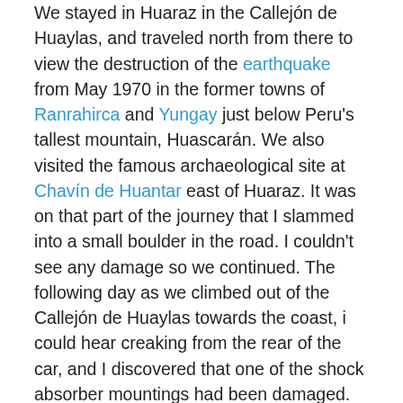We stayed in Huaraz in the Callejón de Huaylas, and traveled north from there to view the destruction of the earthquake from May 1970 in the former towns of Ranrahirca and Yungay just below Peru's tallest mountain, Huascarán. We also visited the famous archaeological site at Chavín de Huantar east of Huaraz. It was on that part of the journey that I slammed into a small boulder in the road. I couldn't see any damage so we continued. The following day as we climbed out of the Callejón de Huaylas towards the coast, i could hear creaking from the rear of the car, and I discovered that one of the shock absorber mountings had been damaged. In fact there was a split, so we limped back into Huaraz to see if it could be repaired. I didn't have much hope of finding a replacement. Well, as soon as the mechanic had jacked the car up, the mounting split and the wheel almost fell off. With some judicious welding, we were on our way again